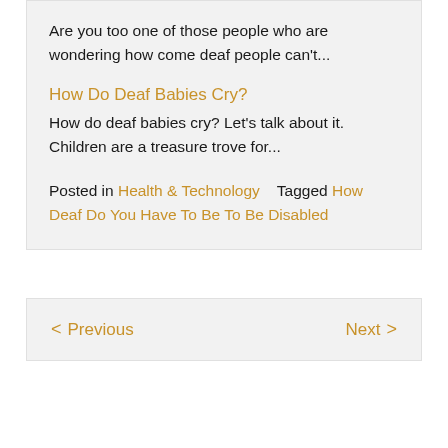Are you too one of those people who are wondering how come deaf people can't...
How Do Deaf Babies Cry?
How do deaf babies cry? Let's talk about it. Children are a treasure trove for...
Posted in Health & Technology   Tagged How Deaf Do You Have To Be To Be Disabled
< Previous    Next >